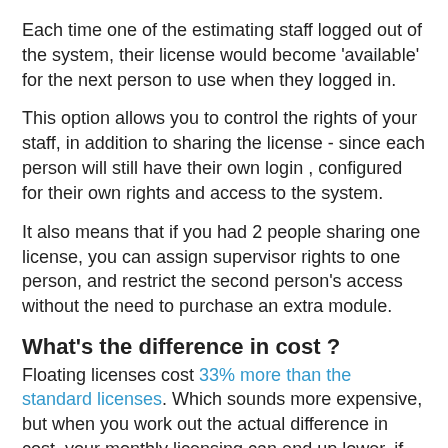Each time one of the estimating staff logged out of the system, their license would become 'available' for the next person to use when they logged in.
This option allows you to control the rights of your staff, in addition to sharing the license - since each person will still have their own login , configured for their own rights and access to the system.
It also means that if you had 2 people sharing one license, you can assign supervisor rights to one person, and restrict the second person's access without the need to purchase an extra module.
What's the difference in cost ?
Floating licenses cost 33% more than the standard licenses. Which sounds more expensive, but when you work out the actual difference in cost, your monthly licensing can end up lower, if you buy the right amount of floating licenses.
You also need to consider that a floating license allows an